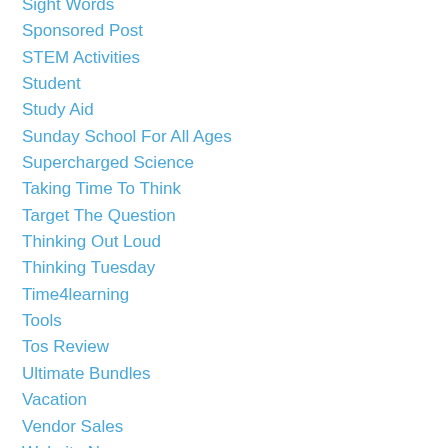Sight Words
Sponsored Post
STEM Activities
Student
Study Aid
Sunday School For All Ages
Supercharged Science
Taking Time To Think
Target The Question
Thinking Out Loud
Thinking Tuesday
Time4learning
Tools
Tos Review
Ultimate Bundles
Vacation
Vendor Sales
Website News
Week In Review
Westminister Shorter Catechism